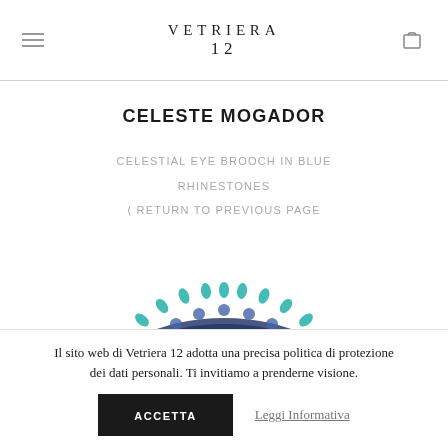VETRIERA 12
CELESTE MOGADOR
CELESTIAL EYE BROOCH IN BLUE RHINESTONES
< RETURN TO PREVIOUS PAGE
[Figure (photo): Partial view of a celestial eye brooch made with blue rhinestones, showing the top arc of the piece.]
Il sito web di Vetriera 12 adotta una precisa politica di protezione dei dati personali. Ti invitiamo a prenderne visione.
ACCETTA
Leggi Informativa